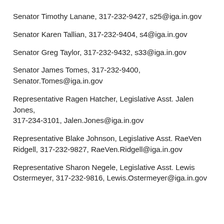Senator Timothy Lanane, 317-232-9427, s25@iga.in.gov
Senator Karen Tallian, 317-232-9404, s4@iga.in.gov
Senator Greg Taylor, 317-232-9432, s33@iga.in.gov
Senator James Tomes, 317-232-9400, Senator.Tomes@iga.in.gov
Representative Ragen Hatcher, Legislative Asst. Jalen Jones, 317-234-3101, Jalen.Jones@iga.in.gov
Representative Blake Johnson, Legislative Asst. RaeVen Ridgell, 317-232-9827, RaeVen.Ridgell@iga.in.gov
Representative Sharon Negele, Legislative Asst. Lewis Ostermeyer, 317-232-9816, Lewis.Ostermeyer@iga.in.gov